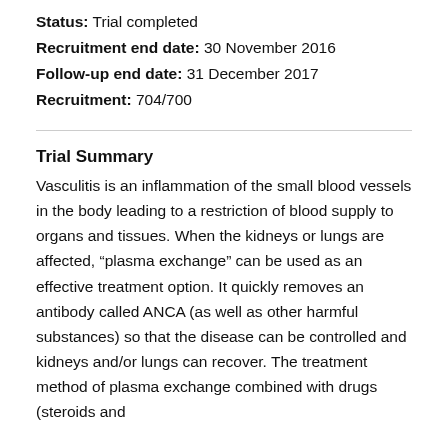Status: Trial completed
Recruitment end date: 30 November 2016
Follow-up end date: 31 December 2017
Recruitment: 704/700
Trial Summary
Vasculitis is an inflammation of the small blood vessels in the body leading to a restriction of blood supply to organs and tissues. When the kidneys or lungs are affected, “plasma exchange” can be used as an effective treatment option. It quickly removes an antibody called ANCA (as well as other harmful substances) so that the disease can be controlled and kidneys and/or lungs can recover. The treatment method of plasma exchange combined with drugs (steroids and